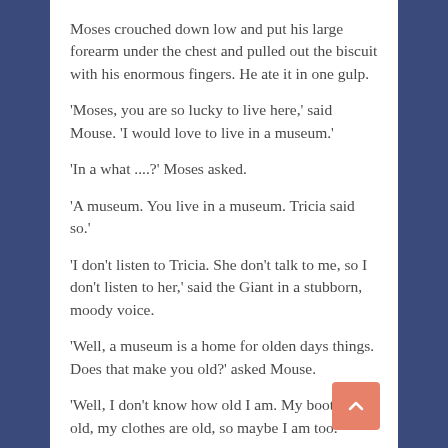Moses crouched down low and put his large forearm under the chest and pulled out the biscuit with his enormous fingers. He ate it in one gulp.
'Moses, you are so lucky to live here,' said Mouse. 'I would love to live in a museum.'
'In a what ....?' Moses asked.
'A museum. You live in a museum. Tricia said so.'
'I don't listen to Tricia. She don't talk to me, so I don't listen to her,' said the Giant in a stubborn, moody voice.
'Well, a museum is a home for olden days things. Does that make you old?' asked Mouse.
'Well, I don't know how old I am. My boots are old, my clothes are old, so maybe I am too.'